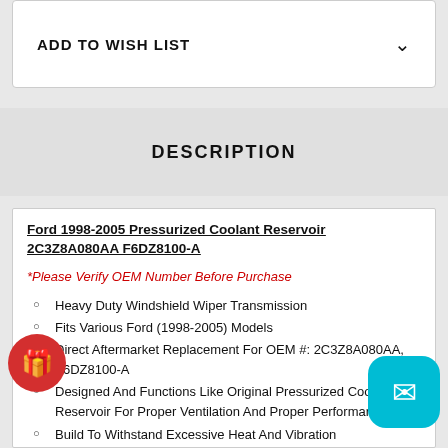ADD TO WISH LIST
DESCRIPTION
Ford 1998-2005 Pressurized Coolant Reservoir 2C3Z8A080AA F6DZ8100-A
*Please Verify OEM Number Before Purchase
Heavy Duty Windshield Wiper Transmission
Fits Various Ford (1998-2005) Models
Direct Aftermarket Replacement For OEM #: 2C3Z8A080AA, F6DZ8100-A
Designed And Functions Like Original Pressurized Coolant Reservoir For Proper Ventilation And Proper Performance
Build To Withstand Excessive Heat And Vibration
Cap Maximum Pressure Rating: 16 PSI